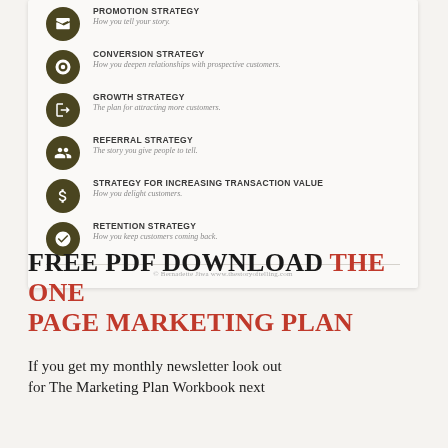PROMOTION STRATEGY — How you tell your story.
CONVERSION STRATEGY — How you deepen relationships with prospective customers.
GROWTH STRATEGY — The plan for attracting more customers.
REFERRAL STRATEGY — The story you give people to tell.
STRATEGY FOR INCREASING TRANSACTION VALUE — How you delight customers.
RETENTION STRATEGY — How you keep customers coming back.
© Bernadette Jiwa www.thestoryoftelling.com
FREE PDF DOWNLOAD THE ONE PAGE MARKETING PLAN
If you get my monthly newsletter look out for The Marketing Plan Workbook next